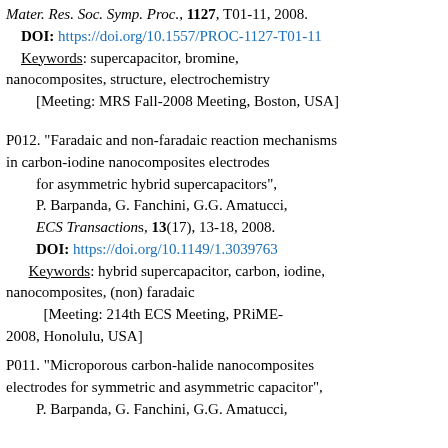Mater. Res. Soc. Symp. Proc., 1127, T01-11, 2008. DOI: https://doi.org/10.1557/PROC-1127-T01-11 Keywords: supercapacitor, bromine, nanocomposites, structure, electrochemistry [Meeting: MRS Fall-2008 Meeting, Boston, USA]
P012. "Faradaic and non-faradaic reaction mechanisms in carbon-iodine nanocomposites electrodes for asymmetric hybrid supercapacitors", P. Barpanda, G. Fanchini, G.G. Amatucci, ECS Transactions, 13(17), 13-18, 2008. DOI: https://doi.org/10.1149/1.3039763 Keywords: hybrid supercapacitor, carbon, iodine, nanocomposites, (non) faradaic [Meeting: 214th ECS Meeting, PRiME-2008, Honolulu, USA]
P011. "Microporous carbon-halide nanocomposites electrodes for symmetric and asymmetric capacitor", P. Barpanda, G. Fanchini, G.G. Amatucci,